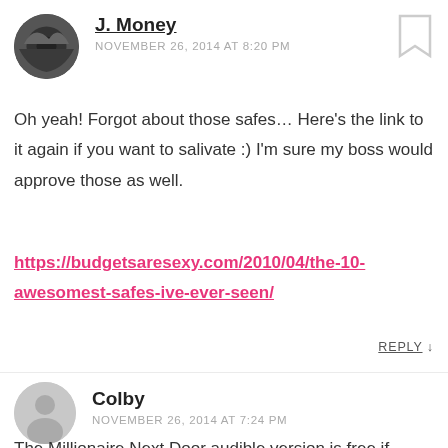J. Money
NOVEMBER 26, 2014 AT 8:20 PM
Oh yeah! Forgot about those safes… Here's the link to it again if you want to salivate :) I'm sure my boss would approve those as well.
https://budgetsaresexy.com/2010/04/the-10-awesomest-safes-ive-ever-seen/
REPLY ↓
Colby
NOVEMBER 26, 2014 AT 7:24 PM
The Millionaire Next Door audible version is free if